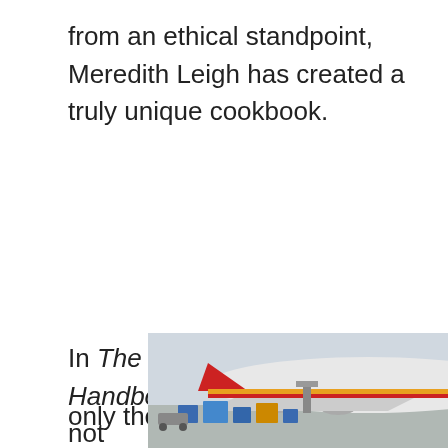from an ethical standpoint, Meredith Leigh has created a truly unique cookbook.
In The Ethical Meat Handbook, she breaks down not only the ingredient choices, recipes and techniques
[Figure (photo): Advertisement banner showing an airplane being loaded with cargo at an airport, with a dark overlay text reading 'WITHOUT REGARD TO POLITICS, RELIGION, OR ABILITY TO PAY']